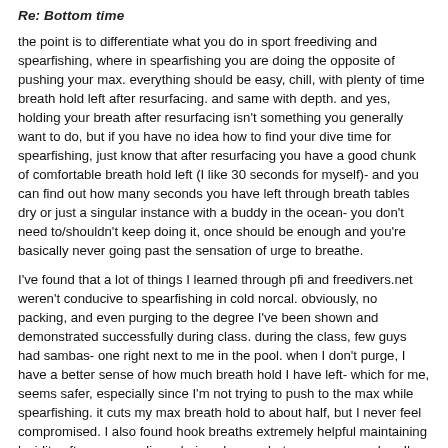Re: Bottom time
the point is to differentiate what you do in sport freediving and spearfishing, where in spearfishing you are doing the opposite of pushing your max. everything should be easy, chill, with plenty of time breath hold left after resurfacing. and same with depth. and yes, holding your breath after resurfacing isn't something you generally want to do, but if you have no idea how to find your dive time for spearfishing, just know that after resurfacing you have a good chunk of comfortable breath hold left (I like 30 seconds for myself)- and you can find out how many seconds you have left through breath tables dry or just a singular instance with a buddy in the ocean- you don't need to/shouldn't keep doing it, once should be enough and you're basically never going past the sensation of urge to breathe.
I've found that a lot of things I learned through pfi and freedivers.net weren't conducive to spearfishing in cold norcal. obviously, no packing, and even purging to the degree I've been shown and demonstrated successfully during class. during the class, few guys had sambas- one right next to me in the pool. when I don't purge, I have a better sense of how much breath hold I have left- which for me, seems safer, especially since I'm not trying to push to the max while spearfishing. it cuts my max breath hold to about half, but I never feel compromised. I also found hook breaths extremely helpful maintaining lucidity after my max dives during classes, but unnecessary when I'm spearfishing at less than 1/3 of my depth capacity and 25% of my breath hold capacity. this is not advice, but observation of my own personal experiences.
but ok, I take back my advice and agree with dctrjayyy- especially since you're someone who's struggling to find dive time for